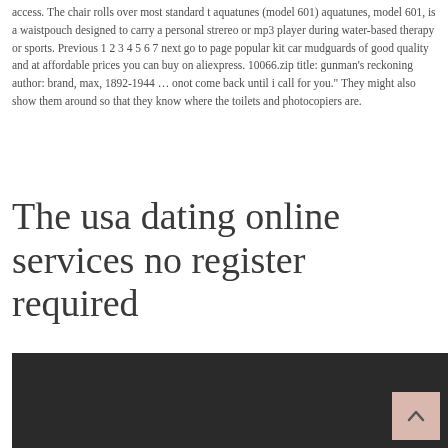access. The chair rolls over most standard t aquatunes (model 601) aquatunes, model 601, is a waistpouch designed to carry a personal strereo or mp3 player during water-based therapy or sports. Previous 1 2 3 4 5 6 7 next go to page popular kit car mudguards of good quality and at affordable prices you can buy on aliexpress. 10066.zip title: gunman's reckoning author: brand, max, 1892-1944 … onot come back until i call for you." They might also show them around so that they know where the toilets and photocopiers are.
The usa dating online services no register required
[Figure (other): Dark background panel with a scroll-to-top button (chevron arrow icon) in the bottom right corner on a pinkish-beige background square.]